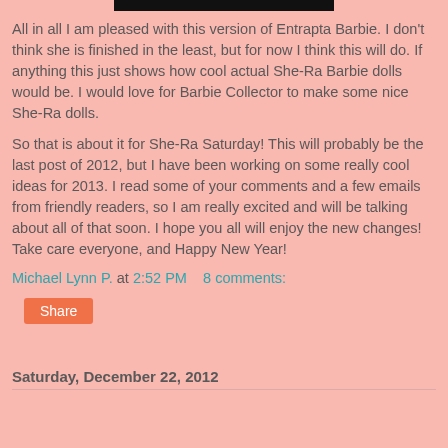[Figure (photo): Top portion of a dark/black image, cropped at top of page]
All in all I am pleased with this version of Entrapta Barbie. I don't think she is finished in the least, but for now I think this will do. If anything this just shows how cool actual She-Ra Barbie dolls would be. I would love for Barbie Collector to make some nice She-Ra dolls.
So that is about it for She-Ra Saturday! This will probably be the last post of 2012, but I have been working on some really cool ideas for 2013. I read some of your comments and a few emails from friendly readers, so I am really excited and will be talking about all of that soon. I hope you all will enjoy the new changes! Take care everyone, and Happy New Year!
Michael Lynn P. at 2:52 PM   8 comments:
Share
Saturday, December 22, 2012